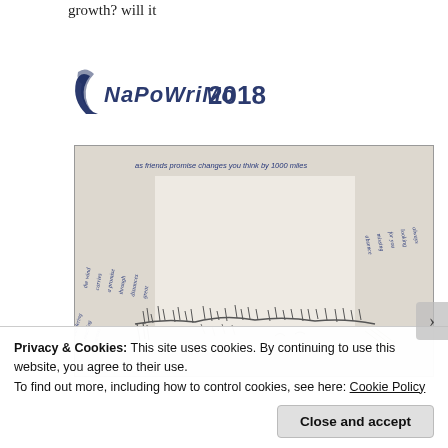growth? will it
[Figure (logo): NaPoWriMo 2018 logo with stylized handwritten lettering and a crescent/bird shape on the left]
[Figure (photo): A photograph of a handwritten poem/sketch on paper — blue ink handwriting surrounds a pencil-sketched landscape with grass and bushes in the lower half; text at top reads 'as friends promise changes you think by 1000 miles']
Privacy & Cookies: This site uses cookies. By continuing to use this website, you agree to their use.
To find out more, including how to control cookies, see here: Cookie Policy
Close and accept